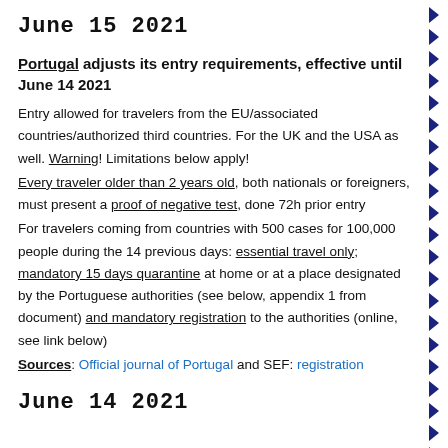June 15 2021
Portugal adjusts its entry requirements, effective until June 14 2021
Entry allowed for travelers from the EU/associated countries/authorized third countries. For the UK and the USA as well. Warning! Limitations below apply!
Every traveler older than 2 years old, both nationals or foreigners, must present a proof of negative test, done 72h prior entry
For travelers coming from countries with 500 cases for 100,000 people during the 14 previous days: essential travel only; mandatory 15 days quarantine at home or at a place designated by the Portuguese authorities (see below, appendix 1 from document) and mandatory registration to the authorities (online, see link below)
Sources: Official journal of Portugal and SEF: registration
June 14 2021